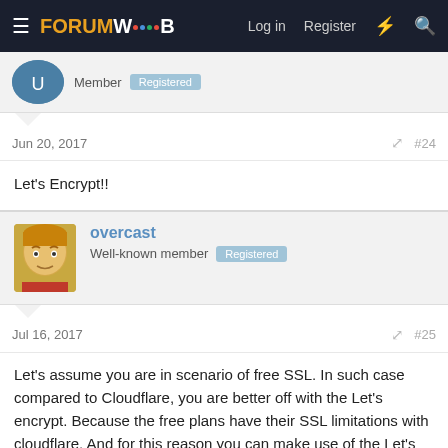FORUMWEB — Log in  Register
Member  Registered
Jun 20, 2017  #24
Let's Encrypt!!
overcast
Well-known member  Registered
Jul 16, 2017  #25
Let's assume you are in scenario of free SSL. In such case compared to Cloudflare, you are better off with the Let's encrypt. Because the free plans have their SSL limitations with cloudflare. And for this reason you can make use of the Let's encrypt SSL. You get everything that is being offered by the Cloudflare and even more. You can try cloudflare and if you don't find it useful enough, you can switch to Let's encrypt in Cpanel.